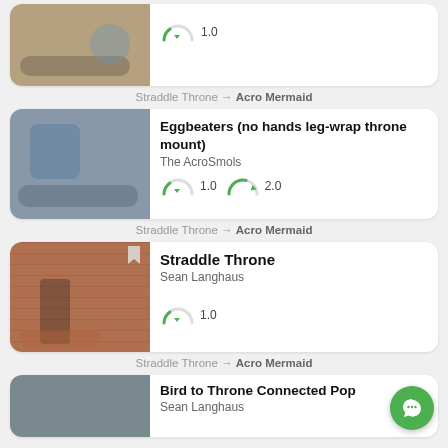[Figure (screenshot): Mobile app listing of acrobatic yoga video tutorials, showing cards with thumbnails, titles, authors, difficulty gauges, and breadcrumb navigation. Cards: 1) partial card at top (Straddle Throne photo, gauge 1.0, breadcrumb 'Straddle Throne → Acro Mermaid'), 2) Eggbeaters (no hands leg-wrap throne mount) by The AcroSmols, gauges 1.0 and 2.0, breadcrumb 'Straddle Throne → Acro Mermaid', 3) Straddle Throne by Sean Langhaus, gauge 1.0, breadcrumb 'Straddle Throne → Acro Mermaid', 4) partial card at bottom: Bird to Throne Connected Pop by Sean Langhaus. Green chat FAB bottom right.]